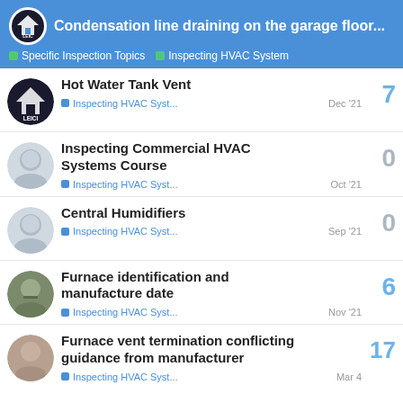Condensation line draining on the garage floor... | Specific Inspection Topics | Inspecting HVAC System
Hot Water Tank Vent | Inspecting HVAC Syst... | Dec '21 | 7 replies
Inspecting Commercial HVAC Systems Course | Inspecting HVAC Syst... | Oct '21 | 0 replies
Central Humidifiers | Inspecting HVAC Syst... | Sep '21 | 0 replies
Furnace identification and manufacture date | Inspecting HVAC Syst... | Nov '21 | 6 replies
Furnace vent termination conflicting guidance from manufacturer | Inspecting HVAC Syst... | Mar 4 | 17 replies